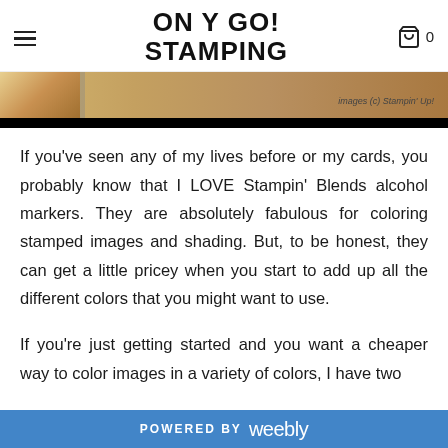ON Y GO! STAMPING
[Figure (photo): Partial image strip showing stamped cards and crafting materials with copyright notice 'images (c) Stampin Up!' and a black bar at the bottom]
If you've seen any of my lives before or my cards, you probably know that I LOVE Stampin' Blends alcohol markers. They are absolutely fabulous for coloring stamped images and shading. But, to be honest, they can get a little pricey when you start to add up all the different colors that you might want to use.
If you're just getting started and you want a cheaper way to color images in a variety of colors, I have two
POWERED BY weebly